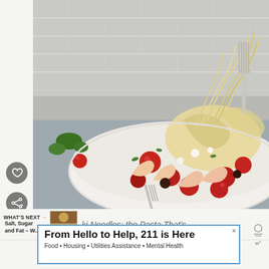[Figure (photo): Food photo: a white baking dish with pasta noodles being lifted by a fork, shrimp, roasted cherry tomatoes, fresh herbs and mozzarella; fork and parsley visible in background on gray surface.]
WHAT'S NEXT →
Salt, Sugar
and Fat – W...
ki Noodles: the Pasta That's
Great For Diabetes
[Figure (photo): Small thumbnail image of a food dish (book/article cover for Salt, Sugar and Fat article)]
From Hello to Help, 211 is Here
Food • Housing • Utilities Assistance • Mental Health